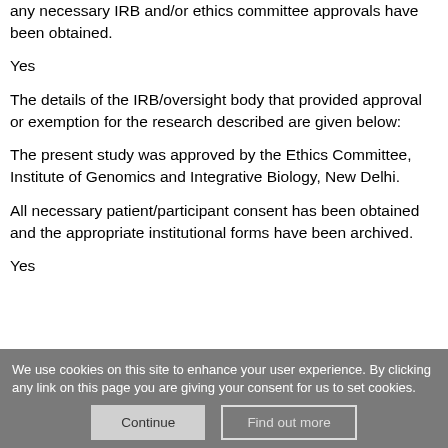any necessary IRB and/or ethics committee approvals have been obtained.
Yes
The details of the IRB/oversight body that provided approval or exemption for the research described are given below:
The present study was approved by the Ethics Committee, Institute of Genomics and Integrative Biology, New Delhi.
All necessary patient/participant consent has been obtained and the appropriate institutional forms have been archived.
Yes
We use cookies on this site to enhance your user experience. By clicking any link on this page you are giving your consent for us to set cookies.